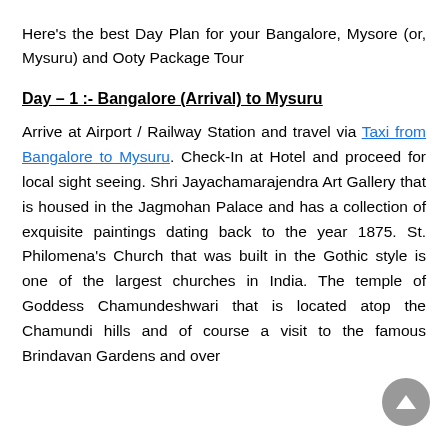Here's the best Day Plan for your Bangalore, Mysore (or, Mysuru) and Ooty Package Tour
Day – 1 :- Bangalore (Arrival) to Mysuru
Arrive at Airport / Railway Station and travel via Taxi from Bangalore to Mysuru. Check-In at Hotel and proceed for local sight seeing. Shri Jayachamarajendra Art Gallery that is housed in the Jagmohan Palace and has a collection of exquisite paintings dating back to the year 1875. St. Philomena's Church that was built in the Gothic style is one of the largest churches in India. The temple of Goddess Chamundeshwari that is located atop the Chamundi hills and of course a visit to the famous Brindavan Gardens and over